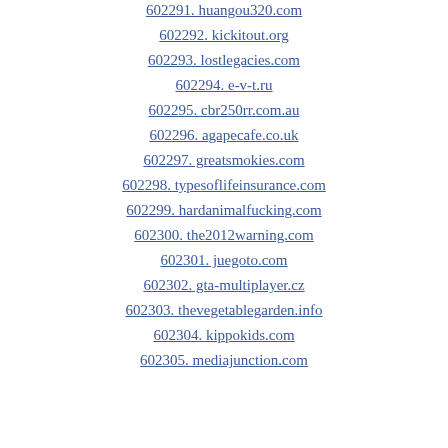602291. huangou320.com
602292. kickitout.org
602293. lostlegacies.com
602294. e-v-t.ru
602295. cbr250rr.com.au
602296. agapecafe.co.uk
602297. greatsmokies.com
602298. typesoflifeinsurance.com
602299. hardanimalfucking.com
602300. the2012warning.com
602301. juegoto.com
602302. gta-multiplayer.cz
602303. thevegetablegarden.info
602304. kippokids.com
602305. mediajunction.com